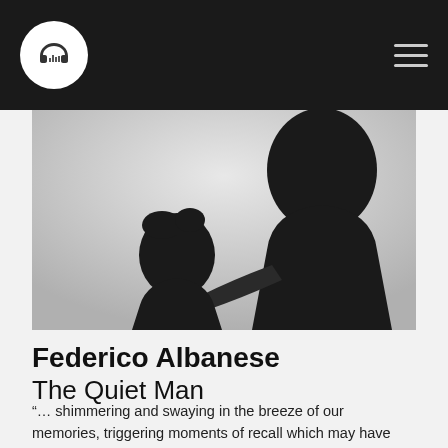[Figure (photo): Black and white photograph showing two silhouetted figures, one smaller (child) in the foreground left and one larger (adult) in the background right, both facing away from camera against a light grey background.]
Federico Albanese
The Quiet Man
“… shimmering and swaying in the breeze of our memories, triggering moments of recall which may have been false…”